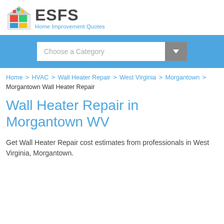[Figure (logo): ESFS Home Improvement Quotes logo with colorful house icon and bold ESFS text]
[Figure (screenshot): Choose a Category dropdown search bar on blue background]
Home > HVAC > Wall Heater Repair > West Virginia > Morgantown > Morgantown Wall Heater Repair
Wall Heater Repair in Morgantown WV
Get Wall Heater Repair cost estimates from professionals in West Virginia, Morgantown.